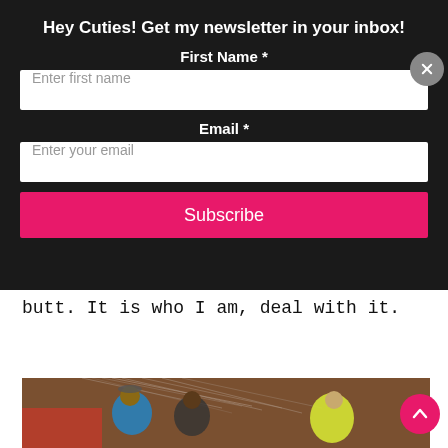Hey Cuties! Get my newsletter in your inbox!
First Name *
Enter first name
Email *
Enter your email
Subscribe
butt. It is who I am, deal with it.
[Figure (photo): People working outdoors near a wall with water spray visible]